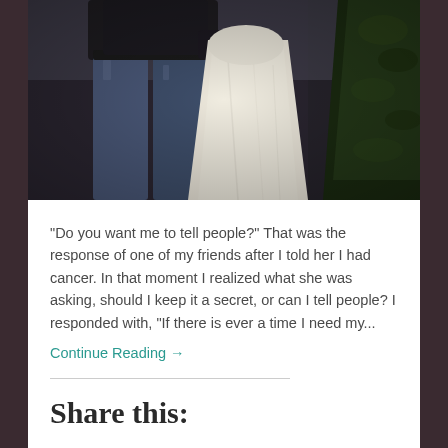[Figure (photo): Wedding photo showing a man in jeans and a woman in a white wedding dress, standing together outdoors with dark foliage in the background.]
"Do you want me to tell people?" That was the response of one of my friends after I told her I had cancer. In that moment I realized what she was asking, should I keep it a secret, or can I tell people? I responded with, "If there is ever a time I need my...
Continue Reading →
Share this: